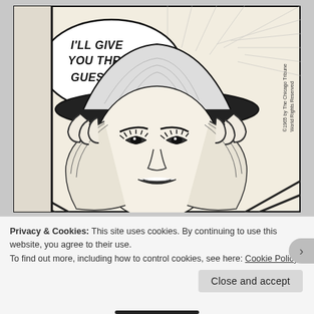[Figure (illustration): Black and white comic strip art showing a glamorous woman with flowing hair wearing a hat, with a speech bubble saying 'I'LL GIVE YOU THREE GUESSES!'. Copyright text reads '©1965 by The Chicago Tribune, World Rights Reserved'.]
Privacy & Cookies: This site uses cookies. By continuing to use this website, you agree to their use.
To find out more, including how to control cookies, see here: Cookie Policy
Close and accept